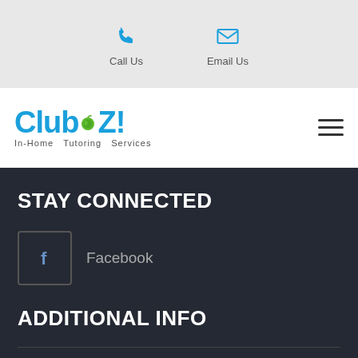Call Us   Email Us
[Figure (logo): Club Z! In-Home Tutoring Services logo with blue text and green apple icon]
STAY CONNECTED
Facebook
ADDITIONAL INFO
Become A Tutor
About Us